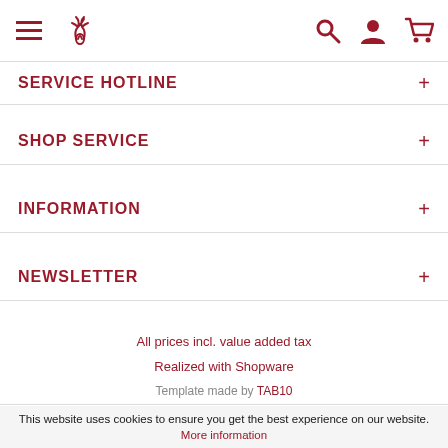Navigation header with hamburger menu, logo, search, user, and cart icons
SERVICE HOTLINE +
SHOP SERVICE +
INFORMATION +
NEWSLETTER +
All prices incl. value added tax
Realized with Shopware
Template made by TAB10
This website uses cookies to ensure you get the best experience on our website. More information
Accept